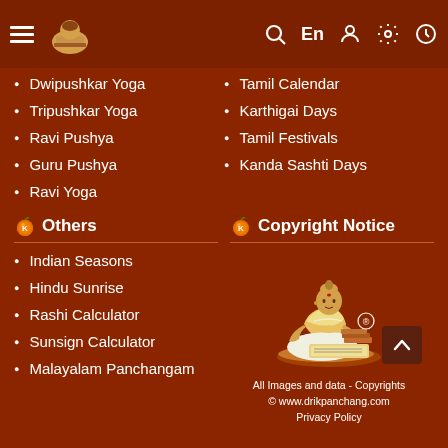Drik Panchang app header with hamburger menu, logo, search, En, user, settings, history icons
Dwipushkar Yoga
Tamil Calendar
Tripushkar Yoga
Karthigai Days
Ravi Pushya
Tamil Festivals
Guru Pushya
Kanda Sashti Days
Ravi Yoga
Others
Copyright Notice
Indian Seasons
Hindu Sunrise
Rashi Calculator
Sunsign Calculator
Malayalam Panchangam
[Figure (illustration): Illustration of a Hindu pandit/scholar sitting and writing on a manuscript, with a registered trademark symbol]
All Images and data - Copyrights © www.drikpanchang.com Privacy Policy